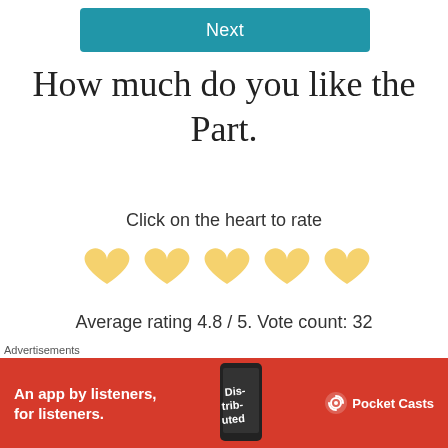[Figure (other): Blue 'Next' button]
How much do you like the Part.
Click on the heart to rate
[Figure (other): Five yellow heart icons for rating]
Average rating 4.8 / 5. Vote count: 32
Advertisements
[Figure (other): Purple advertisement banner (partially visible)]
Advertisements
[Figure (other): Pocket Casts advertisement banner: 'An app by listeners, for listeners.']